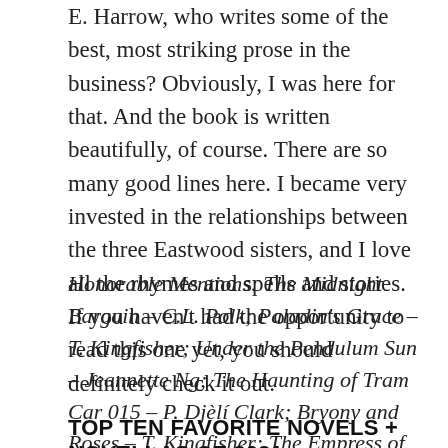E. Harrow, who writes some of the best, most striking prose in the business? Obviously, I was here for that. And the book is written beautifully, of course. There are so many good lines here. I became very invested in the relationships between the three Eastwood sisters, and I love all the rhymes and spells and stories. If you haven't had the opportunity to read this one yet, you should definitely check it out.
Honorable Mentions: The Midnight Bargain – C.L. Polk; Paladin's Grace – T. Kingfisher; Under the Pendulum Sun – Jeannette Ng; The Haunting of Tram Car 015 – P. Djèlí Clark; Bryony and Roses – T. Kingfisher; The Empress of Salt and Fortune – Nghi Vo; Raybearer – Jordan Ifueko; When The Tiger Came Down the Mountain – Nghi Vo
TOP TEN FAVORITE NOVELS + NOVELLAS OF 2021